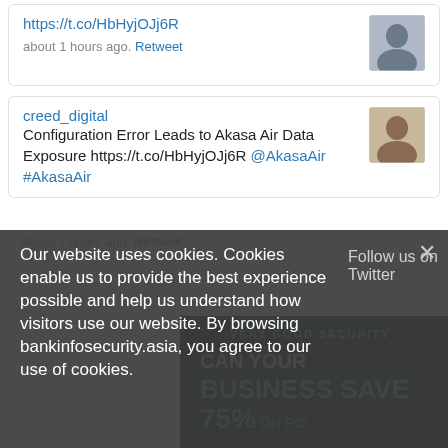https://t.co/HbHyjOJj6R
about 1 hours ago. Retweet
creed_digital
Configuration Error Leads to Akasa Air Data Exposure https://t.co/HbHyjOJj6R @AkasaAir #AkasaAir
about 1 hours ago. Retweet
Our website uses cookies. Cookies enable us to provide the best experience possible and help us understand how visitors use our website. By browsing bankinfosecurity.asia, you agree to our use of cookies.
Follow us on Twitter